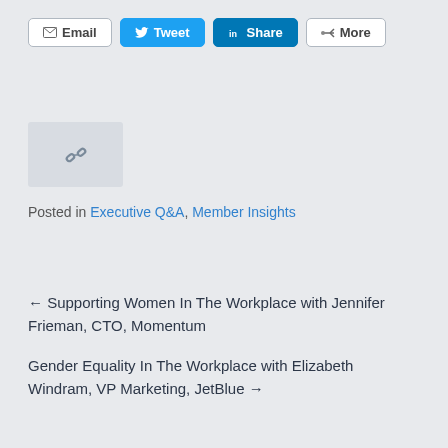[Figure (other): Social sharing button bar with Email, Tweet, LinkedIn Share, and More buttons]
[Figure (other): Chain link / share icon in a grey box]
Posted in Executive Q&A, Member Insights
← Supporting Women In The Workplace with Jennifer Frieman, CTO, Momentum
Gender Equality In The Workplace with Elizabeth Windram, VP Marketing, JetBlue →